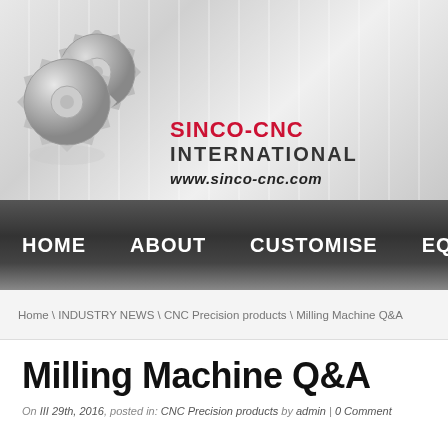[Figure (logo): Sinco-CNC International logo with two metallic gears and company name text reading SINCO-CNC INTERNATIONAL and www.sinco-cnc.com]
HOME   ABOUT   CUSTOMISE   EQUIPME...
Home \ INDUSTRY NEWS \ CNC Precision products \ Milling Machine Q&A
Milling Machine Q&A
On III 29th, 2016, posted in: CNC Precision products by admin | 0 Comment